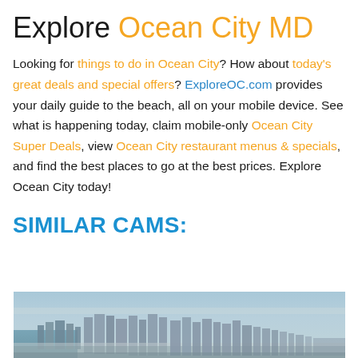Explore Ocean City MD
Looking for things to do in Ocean City? How about today's great deals and special offers? ExploreOC.com provides your daily guide to the beach, all on your mobile device. See what is happening today, claim mobile-only Ocean City Super Deals, view Ocean City restaurant menus & specials, and find the best places to go at the best prices. Explore Ocean City today!
SIMILAR CAMS:
[Figure (photo): Aerial/elevated photo of Ocean City MD coastline showing beachfront buildings and city skyline with ocean and bay visible]